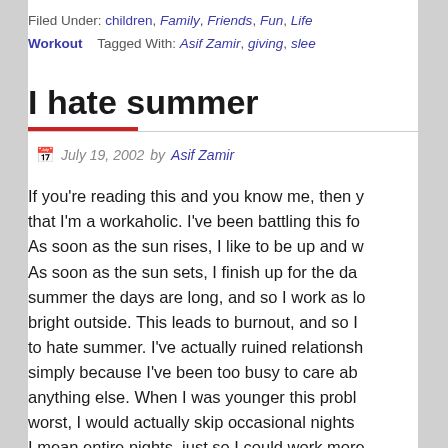Filed Under: children, Family, Friends, Fun, Life, Workout   Tagged With: Asif Zamir, giving, slee
I hate summer
July 19, 2002   by Asif Zamir
If you're reading this and you know me, then you know that I'm a workaholic. I've been battling this for years. As soon as the sun rises, I like to be up and working. As soon as the sun sets, I finish up for the day. In summer the days are long, and so I work as long as it's bright outside. This leads to burnout, and so I've come to hate summer. I've actually ruined relationships simply because I've been too busy to care about anything else. When I was younger this problem was at worst, I would actually skip occasional nights sleep — I mean entire nights, just so I could work more